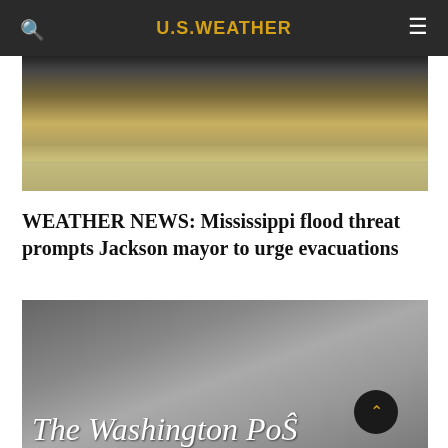U.S. WEATHER
[Figure (photo): Flood water image showing murky brown/tan flood water with rippling surface]
WEATHER NEWS: Mississippi flood threat prompts Jackson mayor to urge evacuations
[Figure (photo): Washington Post logo/masthead overlay on a dimly lit statue or person image]